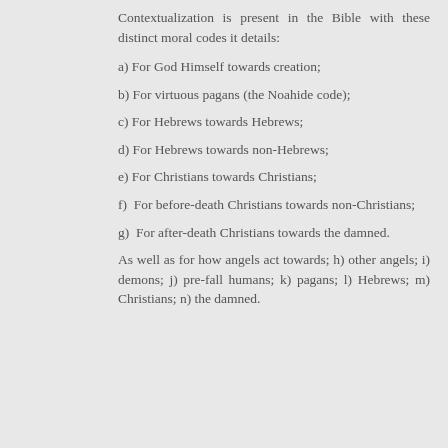Contextualization is present in the Bible with these distinct moral codes it details:
a) For God Himself towards creation;
b) For virtuous pagans (the Noahide code);
c) For Hebrews towards Hebrews;
d) For Hebrews towards non-Hebrews;
e) For Christians towards Christians;
f) For before-death Christians towards non-Christians;
g) For after-death Christians towards the damned.
As well as for how angels act towards; h) other angels; i) demons; j) pre-fall humans; k) pagans; l) Hebrews; m) Christians; n) the damned.